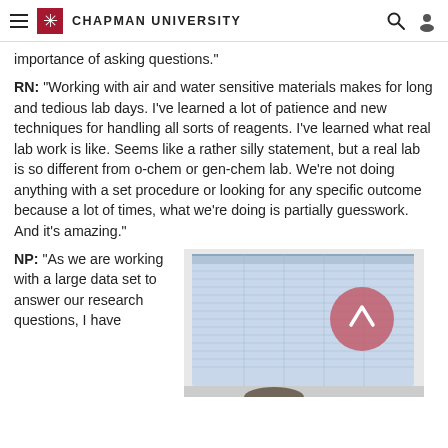Chapman University
importance of asking questions.”
RN: “Working with air and water sensitive materials makes for long and tedious lab days. I’ve learned a lot of patience and new techniques for handling all sorts of reagents. I’ve learned what real lab work is like. Seems like a rather silly statement, but a real lab is so different from o-chem or gen-chem lab. We’re not doing anything with a set procedure or looking for any specific outcome because a lot of times, what we’re doing is partially guesswork. And it’s amazing.”
NP: “As we are working with a large data set to answer our research questions, I have
[Figure (photo): A person pointing at a computer monitor displaying a spreadsheet or data table, with a pink circular button overlay on the screen.]